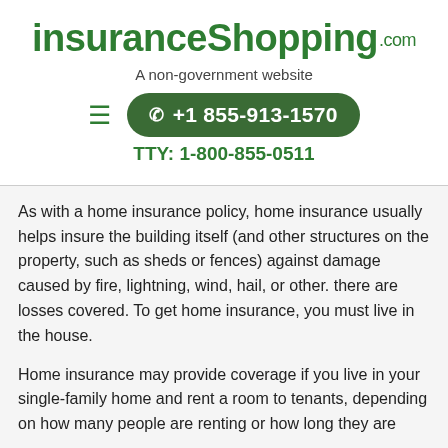[Figure (logo): insuranceShopping.com logo in green text]
A non-government website
[Figure (infographic): Hamburger menu icon and phone button showing +1 855-913-1570 with TTY: 1-800-855-0511]
As with a home insurance policy, home insurance usually helps insure the building itself (and other structures on the property, such as sheds or fences) against damage caused by fire, lightning, wind, hail, or other. there are losses covered. To get home insurance, you must live in the house.
Home insurance may provide coverage if you live in your single-family home and rent a room to tenants, depending on how many people are renting or how long they are